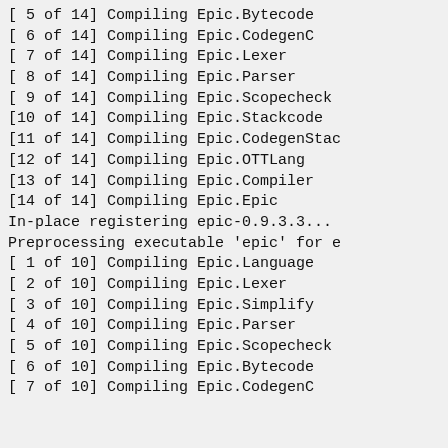[ 5 of 14] Compiling Epic.Bytecode
[ 6 of 14] Compiling Epic.CodegenC
[ 7 of 14] Compiling Epic.Lexer
[ 8 of 14] Compiling Epic.Parser
[ 9 of 14] Compiling Epic.Scopecheck
[10 of 14] Compiling Epic.Stackcode
[11 of 14] Compiling Epic.CodegenStac
[12 of 14] Compiling Epic.OTTLang
[13 of 14] Compiling Epic.Compiler
[14 of 14] Compiling Epic.Epic
In-place registering epic-0.9.3.3...
Preprocessing executable 'epic' for e
[ 1 of 10] Compiling Epic.Language
[ 2 of 10] Compiling Epic.Lexer
[ 3 of 10] Compiling Epic.Simplify
[ 4 of 10] Compiling Epic.Parser
[ 5 of 10] Compiling Epic.Scopecheck
[ 6 of 10] Compiling Epic.Bytecode
[ 7 of 10] Compiling Epic.CodegenC